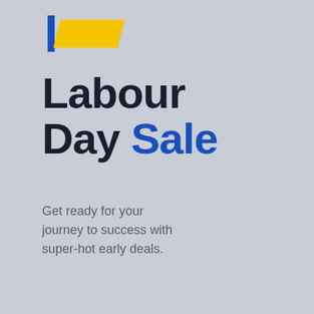[Figure (logo): Decorative logo mark consisting of a blue vertical bar and a yellow parallelogram shape in the top area]
Labour Day Sale
Get ready for your journey to success with super-hot early deals.